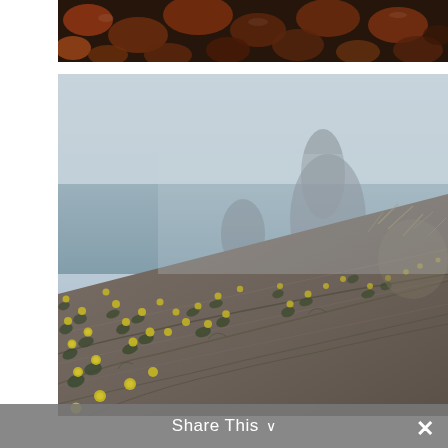[Figure (photo): Close-up photograph of wet colorful rocks and pebbles, predominantly reddish-orange and dark tones, viewed from above.]
[Figure (photo): Coastal landscape photograph showing yellow wildflowers growing on sandy dunes in the foreground, with a misty sea stack rock formation visible in the foggy background and the ocean beyond.]
Share This ∨